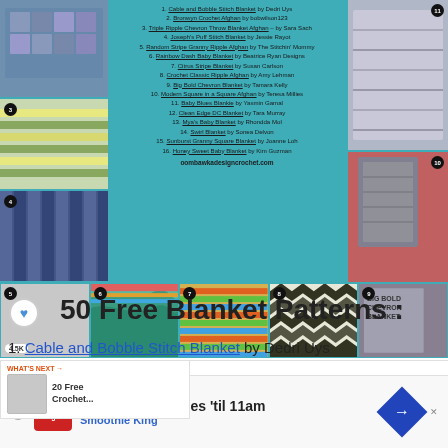[Figure (infographic): Crochet blanket patterns collage with numbered photos (1-16) arranged around a teal background with a numbered list of pattern names and designers, plus oombawkadesigncrochet.com credit]
50 Free Blanket Patterns :
1. Cable and Bobble Stitch Blanket by Dedri Uys
[Figure (infographic): Advertisement: $5 20oz Smoothies 'til 11am - Smoothie King]